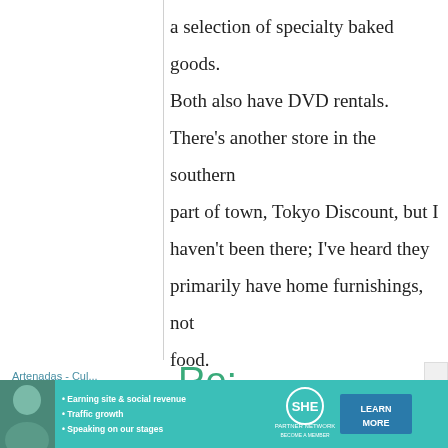a selection of specialty baked goods. Both also have DVD rentals. There's another store in the southern part of town, Tokyo Discount, but I haven't been there; I've heard they primarily have home furnishings, not food.
Artenadas - Cul...
18 October, 2011
- 05:44
permalink
Re: Japanese
[Figure (infographic): Advertisement banner: SHE Partner Network - Earning site & social revenue, Traffic growth, Speaking on our stages. LEARN MORE button.]